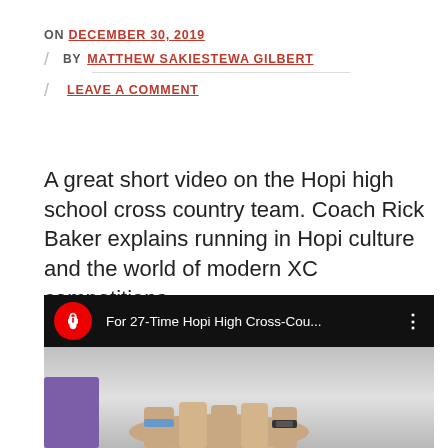ON DECEMBER 30, 2019
BY MATTHEW SAKIESTEWA GILBERT
LEAVE A COMMENT
A great short video on the Hopi high school cross country team. Coach Rick Baker explains running in Hopi culture and the world of modern XC competitions.
[Figure (screenshot): YouTube video embed thumbnail showing title 'For 27-Time Hopi High Cross-Cou...' with red YouTube channel icon featuring a rocket/spaceship logo, black top bar, and a thumbnail image showing hands joined together.]